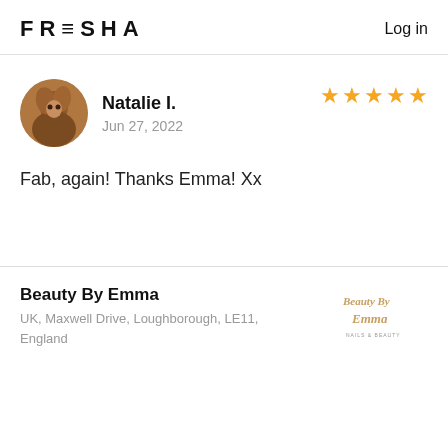FRESHA   Log in
Natalie I.
Jun 27, 2022
★★★★★
Fab, again! Thanks Emma! Xx
Beauty By Emma
UK, Maxwell Drive, Loughborough, LE11, England